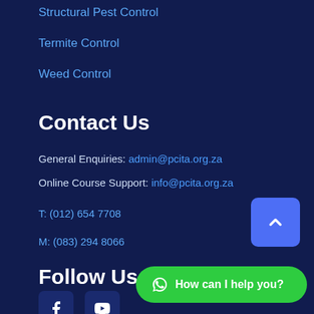Structural Pest Control
Termite Control
Weed Control
Contact Us
General Enquiries: admin@pcita.org.za
Online Course Support: info@pcita.org.za
T: (012) 654 7708
M: (083) 294 8066
Follow Us
[Figure (other): Facebook and YouTube social media icon buttons]
[Figure (other): Scroll to top button (blue rounded rectangle with up chevron)]
[Figure (other): WhatsApp chat widget button with text 'How can I help you?']